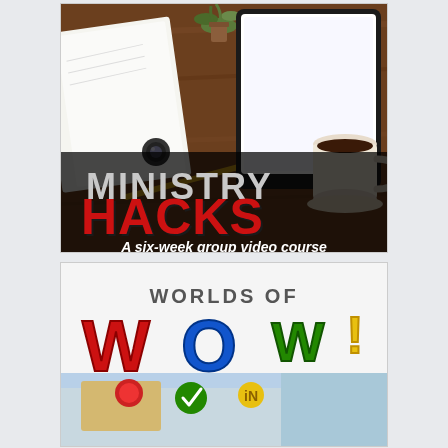[Figure (illustration): Ministry Hacks promotional image showing a desk with tablet, notebook, coffee cup and plant. Text reads 'MINISTRY HACKS - A six-week group video course']
[Figure (illustration): Worlds of WOW! colorful logo illustration with large stylized letters W, O, W in red, blue, green with exclamation mark in yellow, shown against a room background]